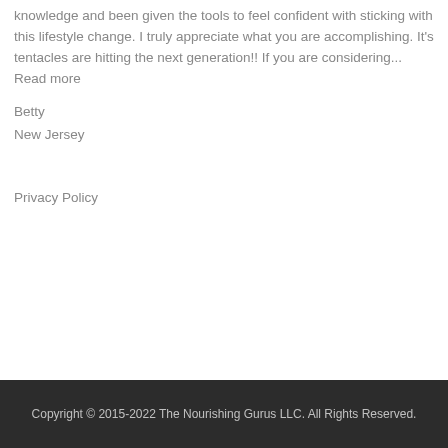knowledge and been given the tools to feel confident with sticking with this lifestyle change. I truly appreciate what you are accomplishing. It’s tentacles are hitting the next generation!! If you are considering...
Read more
Betty
New Jersey
Privacy Policy
Copyright © 2015-2022 The Nourishing Gurus LLC. All Rights Reserved.